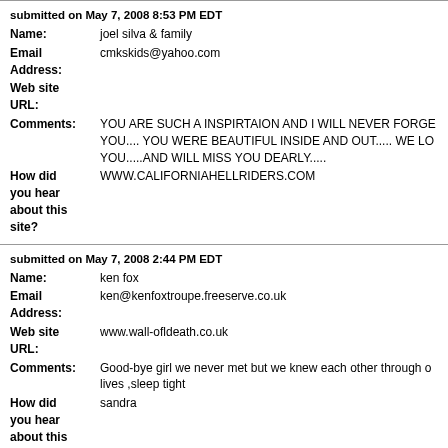submitted on May 7, 2008 8:53 PM EDT
Name: joel silva & family
Email Address: cmkskids@yahoo.com
Web site URL:
Comments: YOU ARE SUCH A INSPIRTAION AND I WILL NEVER FORGET YOU.... YOU WERE BEAUTIFUL INSIDE AND OUT..... WE LOVED YOU.....AND WILL MISS YOU DEARLY.....
How did you hear about this site? WWW.CALIFORNIAHELLRIDERS.COM
submitted on May 7, 2008 2:44 PM EDT
Name: ken fox
Email Address: ken@kenfoxtroupe.freeserve.co.uk
Web site URL: www.wall-ofldeath.co.uk
Comments: Good-bye girl we never met but we knew each other through our lives ,sleep tight
How did you hear about this site? sandra